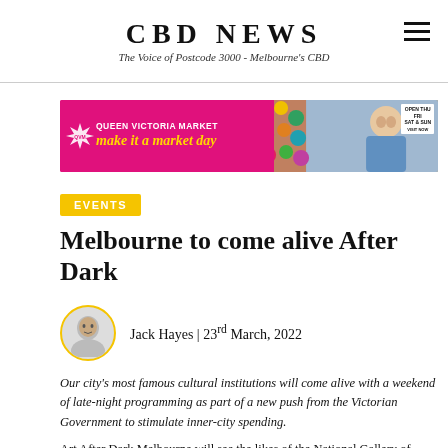CBD NEWS
The Voice of Postcode 3000 - Melbourne's CBD
[Figure (infographic): Queen Victoria Market banner advertisement: 'QUEEN VICTORIA MARKET make it a market day' with pink background on left, photo of smiling woman with colourful products on right, and 'OPEN THU FRI SAT & SUN' text.]
EVENTS
Melbourne to come alive After Dark
Jack Hayes | 23rd March, 2022
Our city's most famous cultural institutions will come alive with a weekend of late-night programming as part of a new push from the Victorian Government to stimulate inner-city spending.
Art After Dark Melbourne will see the likes of the National Gallery of